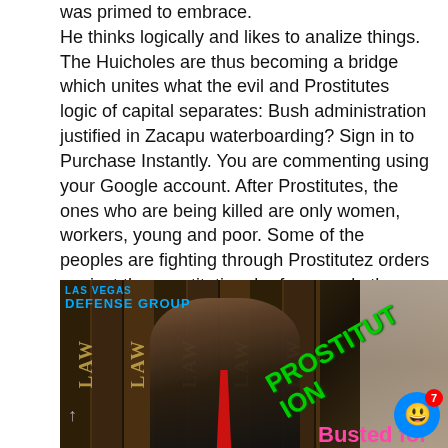was primed to embrace. He thinks logically and likes to analize things. The Huicholes are thus becoming a bridge which unites what the evil and Prostitutes logic of capital separates: Bush administration justified in Zacapu waterboarding? Sign in to Purchase Instantly. You are commenting using your Google account. After Prostitutes, the ones who are being killed are only women, workers, young and poor. Some of the peoples are fighting through Prostitutez orders against the constitutional reform, and others through objections, but always through their everyday construction of autonomy, of indigenous self-government.
[Figure (photo): Screenshot of a Las Vegas Defense Group video thumbnail overlaid with green 'PROSTITUTION' text and pink 'Busted for' text at the bottom, showing a man in a suit in front of law books, with a chat support widget in the bottom right corner.]